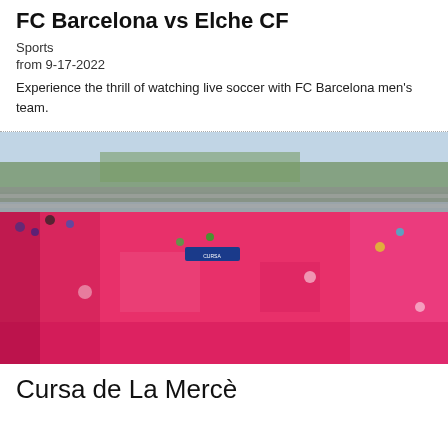FC Barcelona vs Elche CF
Sports
from 9-17-2022
Experience the thrill of watching live soccer with FC Barcelona men's team.
[Figure (photo): Aerial view of a large crowd of people wearing bright pink/magenta t-shirts gathered at what appears to be an outdoor event or race, with stadium steps and greenery visible in the background.]
Cursa de La Mercè